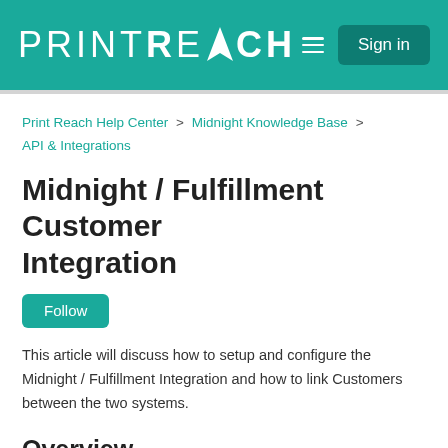PRINTREACH  Sign in
Print Reach Help Center > Midnight Knowledge Base > API & Integrations
Midnight / Fulfillment Customer Integration  Follow
This article will discuss how to setup and configure the Midnight / Fulfillment Integration and how to link Customers between the two systems.
Overview
Starting with 6.9.5, users of both Midnight and Fulfillment